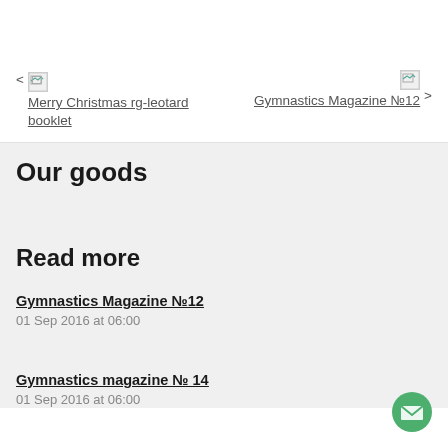< Merry Christmas rg-leotard booklet
Gymnastics Magazine №12 >
Our goods
Read more
Gymnastics Magazine №12
01 Sep 2016 at 06:00
Gymnastics magazine № 14
01 Sep 2016 at 06:00